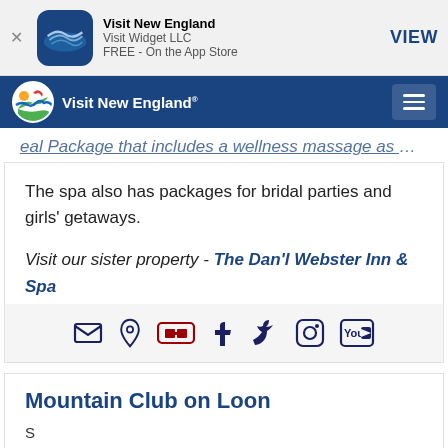[Figure (screenshot): App Store banner for Visit New England app by Visit Widget LLC, FREE on the App Store, with VIEW button]
[Figure (screenshot): Visit New England navigation bar with logo and hamburger menu]
eal Package that includes a wellness massage as well as dinner for two and welcoming chocolates.
The spa also has packages for bridal parties and girls' getaways.
Visit our sister property - The Dan'l Webster Inn & Spa
[Figure (other): Social media icons: email, location, hotel/bed, Facebook, Twitter, Instagram, YouTube]
Mountain Club on Loon
Monthly Newsletter Subscription
For special offers and great New England...